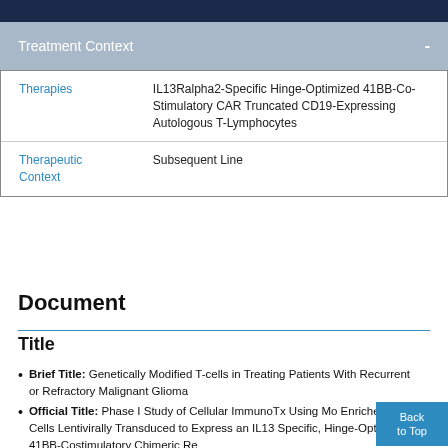Treatment Context
|  |  |
| --- | --- |
| Therapies | IL13Ralpha2-Specific Hinge-Optimized 41BB-Co-Stimulatory CAR Truncated CD19-Expressing Autologous T-Lymphocytes |
| Therapeutic Context | Subsequent Line |
Document
Title
Brief Title: Genetically Modified T-cells in Treating Patients With Recurrent or Refractory Malignant Glioma
Official Title: Phase I Study of Cellular ImmunoTx Using Mo Enriched T Cells Lentivirally Transduced to Express an IL13 Specific, Hinge-Optimized, 41BB-Costimulatory Chimeric Re